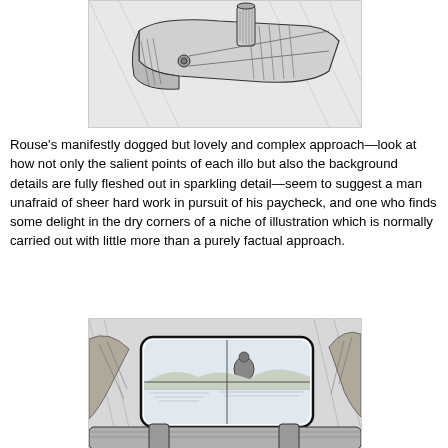[Figure (illustration): Black and white technical illustration showing a trap mechanism with detailed cross-hatching, depicting what appears to be a folded/hinged device with a cylindrical component on top]
Rouse's manifestly dogged but lovely and complex approach—look at how not only the salient points of each illo but also the background details are fully fleshed out in sparkling detail—seem to suggest a man unafraid of sheer hard work in pursuit of his paycheck, and one who finds some delight in the dry corners of a niche of illustration which is normally carried out with little more than a purely factual approach.
[Figure (illustration): Black and white illustration showing a rifle scope view with a person near water visible through the scope reticle, with rifle barrel and scope hardware visible in the foreground]